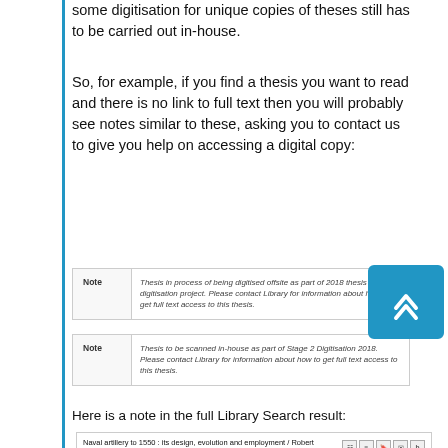some digitisation for unique copies of theses still has to be carried out in-house.
So, for example, if you find a thesis you want to read and there is no link to full text then you will probably see notes similar to these, asking you to contact us to give you help on accessing a digital copy:
| Note |  |
| --- | --- |
| Note | Thesis in process of being digitised offsite as part of 2018 thesis digitisation project. Please contact Library for information about how to get full text access to this thesis. |
| Note |  |
| --- | --- |
| Note | Thesis to be scanned in-house as part of Stage 2 Digitisation 2018. Please contact Library for information about how to get full text access to this thesis. |
Here is a note in the full Library Search result:
[Figure (screenshot): Library Search result card showing: Naval artillery to 1550 : its design, evolution and employment / Robert Angus Konstam. Author: Konstam, Angus. THESES 88 | 1987. Available at Special Collections: Thesis (To HF366 K3) plus 1 more. With action icons on the right.]